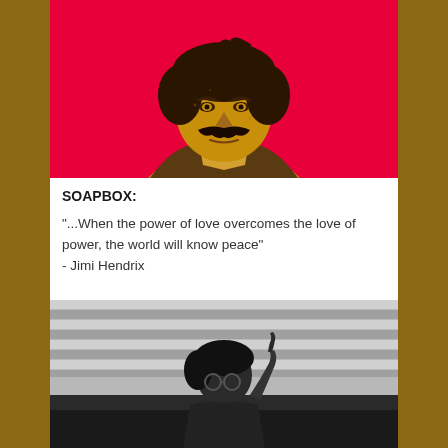[Figure (photo): Stylized pop-art portrait of a man with a mustache on a bright red/crimson background. The figure appears in golden-yellow tones against the red backdrop.]
SOAPBOX:
"...When the power of love overcomes the love of power, the world will know peace"
- Jimi Hendrix
[Figure (photo): Black and white photograph of a person sitting at what appears to be a piano or desk, with horizontal blinds or slats visible in the background.]